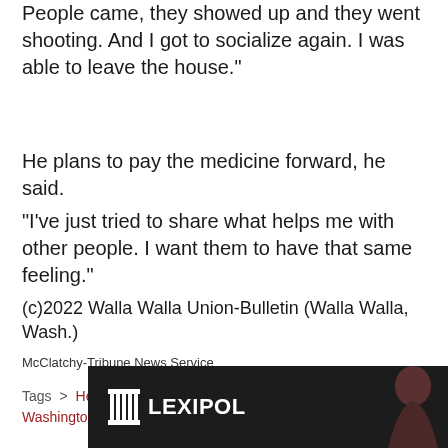People came, they showed up and they went shooting. And I got to socialize again. I was able to leave the house."
He plans to pay the medicine forward, he said.
"I've just tried to share what helps me with other people. I want them to have that same feeling."
(c)2022 Walla Walla Union-Bulletin (Walla Walla, Wash.)
McClatchy-Tribune News Service
Tags > Health & Wellness · Officer Safety · Washington
[Figure (logo): Lexipol advertisement banner with dark background, Lexipol logo on left and partial silhouette of a person on the right]